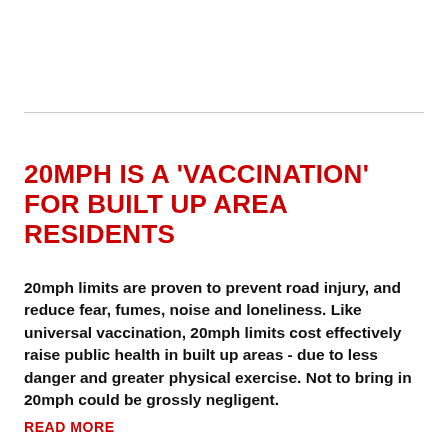20MPH IS A 'VACCINATION' FOR BUILT UP AREA RESIDENTS
20mph limits are proven to prevent road injury, and reduce fear, fumes, noise and loneliness. Like universal vaccination, 20mph limits cost effectively raise public health in built up areas - due to less danger and greater physical exercise. Not to bring in 20mph could be grossly negligent.
READ MORE